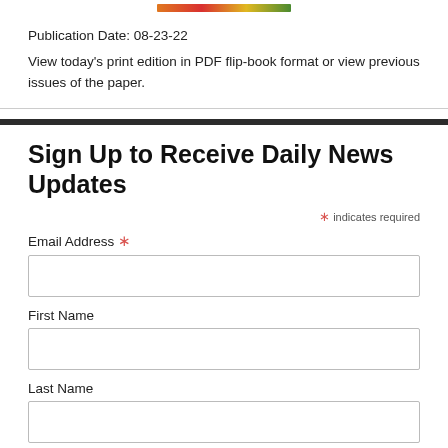[Figure (illustration): Colorful newspaper/publication cover image banner at top]
Publication Date: 08-23-22
View today's print edition in PDF flip-book format or view previous issues of the paper.
Sign Up to Receive Daily News Updates
* indicates required
Email Address *
First Name
Last Name